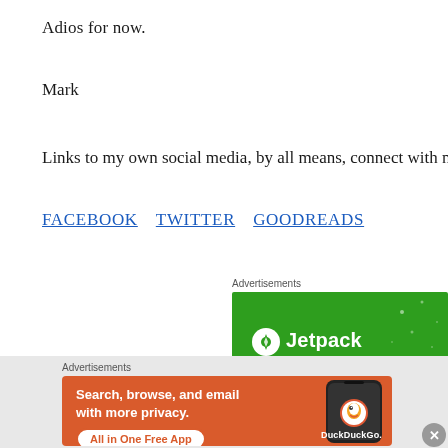Adios for now.
Mark
Links to my own social media, by all means, connect with m
FACEBOOK  TWITTER  GOODREADS
Advertisements
[Figure (other): Jetpack advertisement banner with green background and Jetpack logo]
Advertisements
[Figure (other): DuckDuckGo advertisement banner with orange background showing phone and text: Search, browse, and email with more privacy. All in One Free App. DuckDuckGo.]